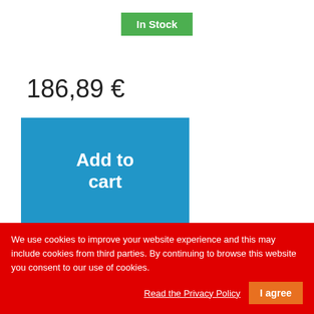In Stock
186,89 €
Add to cart
More
Add to Compare
We use cookies to improve your website experience and this may include cookies from third parties. By continuing to browse this website you consent to our use of cookies.
Read the Privacy Policy
I agree